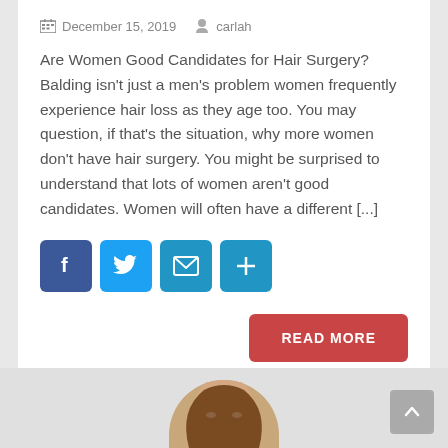December 15, 2019   carlah
Are Women Good Candidates for Hair Surgery? Balding isn't just a men's problem women frequently experience hair loss as they age too. You may question, if that's the situation, why more women don't have hair surgery. You might be surprised to understand that lots of women aren't good candidates. Women will often have a different [...]
[Figure (infographic): Social share buttons: Facebook (blue), Twitter (light blue), Email (blue), Share/Plus (blue)]
[Figure (other): READ MORE button in red/pink]
[Figure (photo): Partial photo of a woman's face/hair at the bottom of the page]